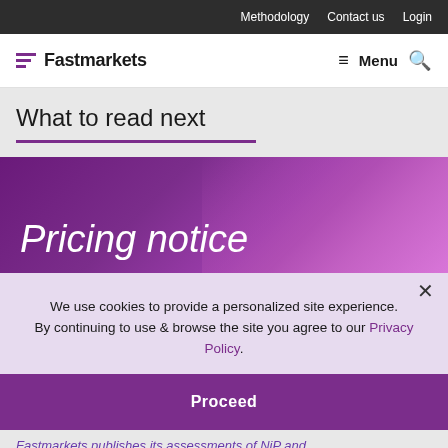Methodology   Contact us   Login
Fastmarkets   Menu
What to read next
[Figure (infographic): Pricing notice banner with purple gradient background]
We use cookies to provide a personalized site experience.
By continuing to use & browse the site you agree to our Privacy Policy.
Proceed
Fastmarkets publishes its assessments of NiP and